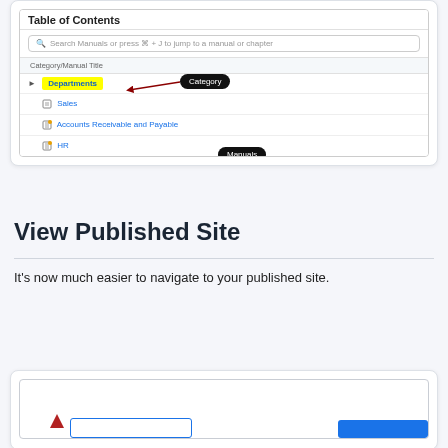[Figure (screenshot): Screenshot of a Table of Contents UI with Category and Manuals labels annotated with black tooltip badges and red bracket arrows. Shows search bar, 'Departments' category highlighted in yellow, and manuals: Sales, Accounts Receivable and Payable, HR.]
View Published Site
It's now much easier to navigate to your published site.
[Figure (screenshot): Partial screenshot of a published site view (bottom portion clipped), showing a UI panel with a blue button partially visible at the bottom.]